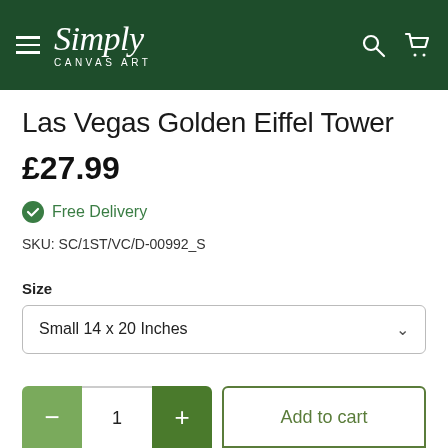Simply CANVAS ART
Las Vegas Golden Eiffel Tower
£27.99
Free Delivery
SKU: SC/1ST/VC/D-00992_S
Size
Small 14 x 20 Inches
1
Add to cart